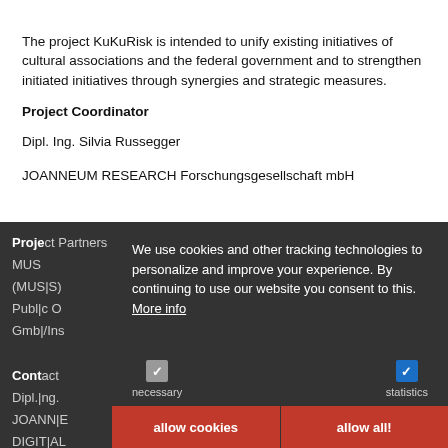The project KuKuRisk is intended to unify existing initiatives of cultural associations and the federal government and to strengthen initiated initiatives through synergies and strategic measures.
Project Coordinator
Dipl. Ing. Silvia Russegger
JOANNEUM RESEARCH Forschungsgesellschaft mbH
Project Partners
MUSS – ... (MUSIS)
Public Opinion-Marktforschungs-Consultationgesellschaft GmbH/Institut für Sozialforschung (PG)
Contact
Dipl. Ing. Silvia Russegger
JOANNEUM RESEARCH Forschungsgesellschaft mbH
DIGITAL – Institut für Informations- und Kommunikationstechnologien
Steyrergasse 17,
8010 Graz
[Figure (screenshot): Cookie consent popup overlay with dark background showing message: 'We use cookies and other tracking technologies to personalize and improve your experience. By continuing to use our website you consent to this. More info', with necessary (grey checkbox) and statistics (blue checkbox) options, and two red buttons: 'allow cookies' and 'allow all!']